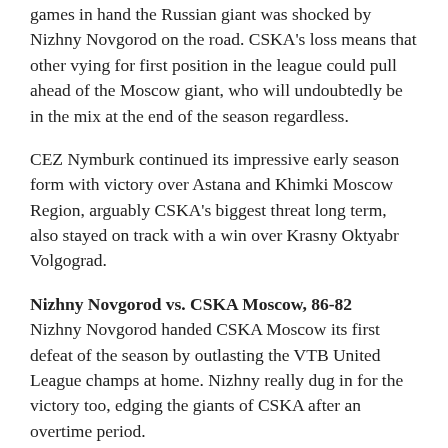games in hand the Russian giant was shocked by Nizhny Novgorod on the road. CSKA's loss means that other vying for first position in the league could pull ahead of the Moscow giant, who will undoubtedly be in the mix at the end of the season regardless.
CEZ Nymburk continued its impressive early season form with victory over Astana and Khimki Moscow Region, arguably CSKA's biggest threat long term, also stayed on track with a win over Krasny Oktyabr Volgograd.
Nizhny Novgorod vs. CSKA Moscow, 86-82
Nizhny Novgorod handed CSKA Moscow its first defeat of the season by outlasting the VTB United League champs at home. Nizhny really dug in for the victory too, edging the giants of CSKA after an overtime period.
The teams were locked 29-29 after the first half and then again after 40 minutes the score was tied at 74 apiece, a tight game reflected by 8 lead changes and 10 ties. The hosts